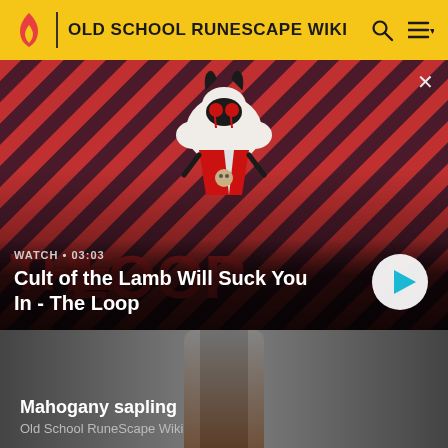OLD SCHOOL RUNESCAPE WIKI
[Figure (screenshot): Video thumbnail for 'Cult of the Lamb Will Suck You In - The Loop' showing an animated character (a lamb with horns and red eyes, wearing a red cape) against a diagonal red and dark striped background. A play button and watch time 03:03 are visible.]
WATCH • 03:03
Cult of the Lamb Will Suck You In - The Loop
[Figure (screenshot): Thumbnail for 'Mahogany sapling' page on Old School RuneScape Wiki. Dark grey background with a brown sapling visible in the center-bottom area.]
Mahogany sapling
Old School RuneScape Wiki